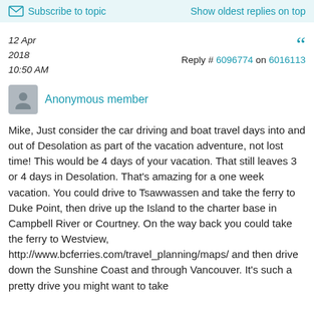Subscribe to topic    Show oldest replies on top
12 Apr
2018
10:50 AM
Reply # 6096774 on 6016113
Anonymous member
Mike, Just consider the car driving and boat travel days into and out of Desolation as part of the vacation adventure, not lost time!  This would be 4 days of your vacation.  That still leaves 3 or 4 days in Desolation.  That's amazing for a one week vacation.  You could drive to Tsawwassen and take the ferry to Duke Point, then drive up the Island to the charter base in Campbell River or Courtney.  On the way back you could take the ferry to Westview, http://www.bcferries.com/travel_planning/maps/ and then drive down the Sunshine Coast and through Vancouver.  It's such a pretty drive you might want to take